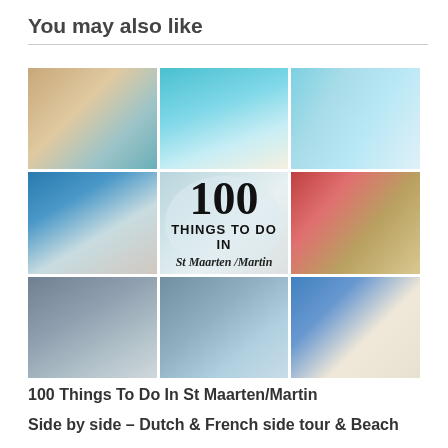You may also like
[Figure (photo): A collage of 9 travel photos arranged in a 3x3 grid. The center image is a composite with a circular overlay reading '100 THINGS TO DO IN St Maarten /Martin'. Other photos show beach scenes, an airplane, people at the beach, sailing, food, and a low-flying plane over a beach crowd.]
100 Things To Do In St Maarten/Martin
Side by side – Dutch & French side tour & Beach